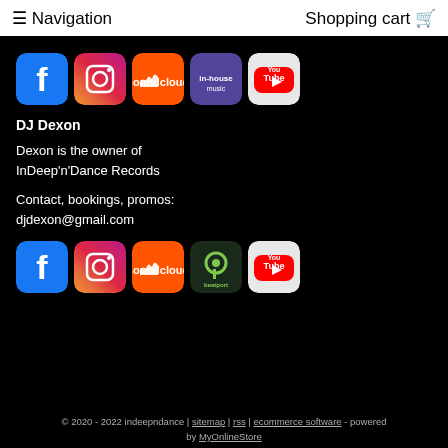≡ Navigation   Shopping cart 🛒
[Figure (illustration): Row of 5 social media icons: Facebook, Instagram, SoundCloud, Mixcloud/purple, YouTube]
DJ Dexon
Dexon is the owner of InDeep'n'Dance Records
Contact, bookings, promos:
djdexon@gmail.com
[Figure (illustration): Row of 5 social media icons: Facebook, Instagram, SoundCloud, Beatport, YouTube]
© 2020 - 2022 indeepndance | sitemap | rss | ecommerce software - powered by MyOnlineStore